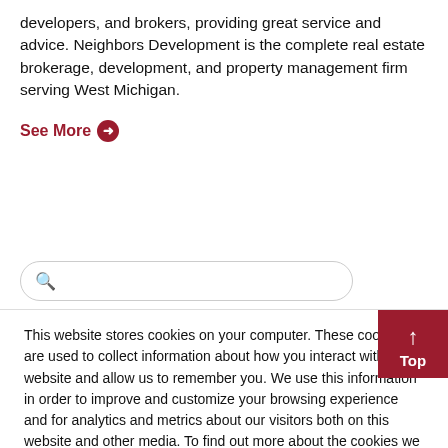developers, and brokers, providing great service and advice. Neighbors Development is the complete real estate brokerage, development, and property management firm serving West Michigan.
See More →
This website stores cookies on your computer. These cookies are used to collect information about how you interact with our website and allow us to remember you. We use this information in order to improve and customize your browsing experience and for analytics and metrics about our visitors both on this website and other media. To find out more about the cookies we use, see our Privacy Policy.
If you decline, your information won't be tracked when you visit this website. A single cookie will be used in your browser to remember your preference not to be tracked.
Accept
Decline